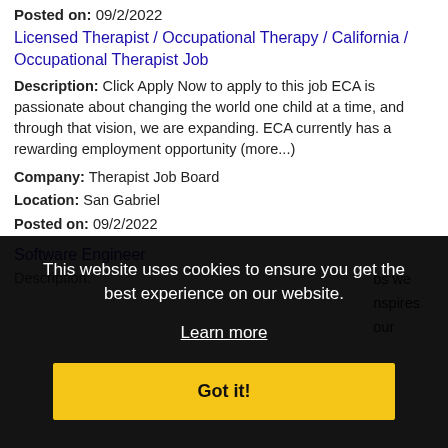Posted on: 09/2/2022
Licensed Therapist / Occupational Therapy / California / Occupational Therapist Job
Description: Click Apply Now to apply to this job ECA is passionate about changing the world one child at a time, and through that vision, we are expanding. ECA currently has a rewarding employment opportunity (more...)
Company: Therapist Job Board
Location: San Gabriel
Posted on: 09/2/2022
Software Engineer
Description: (partially obscured) ...bs we ...nspires ...our
[Figure (screenshot): Cookie consent overlay on black background with text 'This website uses cookies to ensure you get the best experience on our website.' with a 'Learn more' link and a yellow 'Got it!' button. Behind the overlay partially visible text and a 'Sign in / Create An Account' link.]